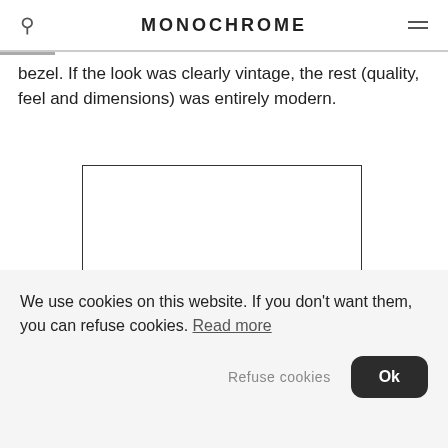MONOCHROME
bezel. If the look was clearly vintage, the rest (quality, feel and dimensions) was entirely modern.
[Figure (photo): A rectangular image placeholder with a black border, content not visible (blank white area).]
We use cookies on this website. If you don't want them, you can refuse cookies. Read more
Refuse cookies    Ok